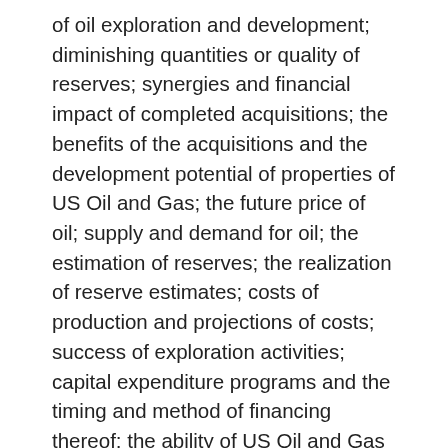of oil exploration and development; diminishing quantities or quality of reserves; synergies and financial impact of completed acquisitions; the benefits of the acquisitions and the development potential of properties of US Oil and Gas; the future price of oil; supply and demand for oil; the estimation of reserves; the realization of reserve estimates; costs of production and projections of costs; success of exploration activities; capital expenditure programs and the timing and method of financing thereof; the ability of US Oil and Gas to achieve drilling success consistent with management's expectations; net present values of future net revenues from reserves; expected levels of royalty rates, operating costs, general and administrative costs, costs of services and other costs and expenses; expectations regarding the ability to raise capital and to add to reserves through acquisitions, assessments of the value of acquisitions and exploration and development programs; geological, technical, drilling and processing problems; treatment under governmental regulatory regimes and tax